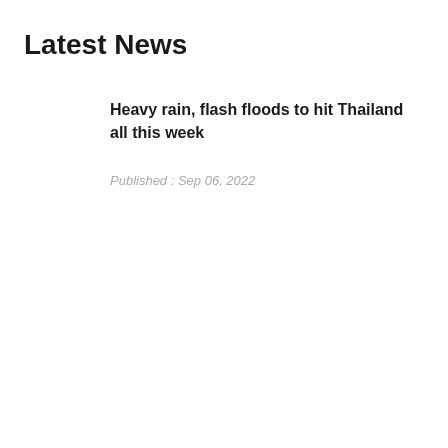Latest News
Heavy rain, flash floods to hit Thailand all this week
Published : Sep 06, 2022